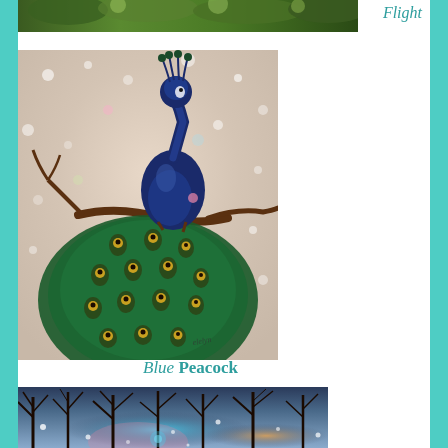[Figure (photo): Partial top strip of a nature/bird photo (appears to be trees or foliage)]
Flight
[Figure (illustration): Painting of a blue peacock perched on a branch with sparkly bokeh background and large teal/green feathered tail with eye spots]
Blue Peacock
[Figure (photo): Bottom partial photo of bare tree silhouettes against a glowing twilight sky with bokeh lights]